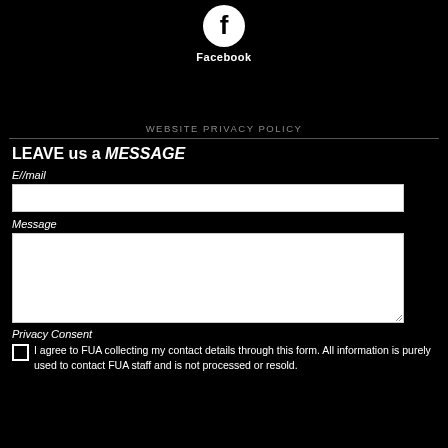[Figure (logo): Facebook logo icon (white F on white circle with black background)]
Facebook
WEBSITE PRIVACY POLICY
LEAVE us a MESSAGE
E//mail
Message
Privacy Consent
I agree to FUA collecting my contact details through this form. All information is purely used to contact FUA staff and is not processed or resold.